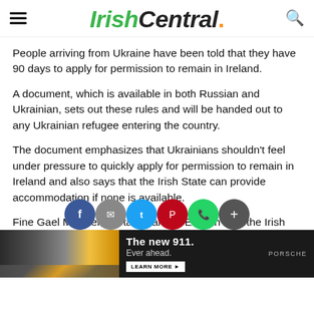IrishCentral.
People arriving from Ukraine have been told that they have 90 days to apply for permission to remain in Ireland.
A document, which is available in both Russian and Ukrainian, sets out these rules and will be handed out to any Ukrainian refugee entering the country.
The document emphasizes that Ukrainians shouldn't feel under pressure to quickly apply for permission to remain in Ireland and also says that the Irish State can provide accommodation if none is available.
Fine Gael Minister of State Damien English said the Irish Government will look to use hotels and other accommodation to house refugees, while the Government will also be able to use emergency powers to introduce
[Figure (other): Social sharing icons overlay: Facebook, email, Twitter, Pinterest, WhatsApp, plus button]
[Figure (other): Advertisement banner: Porsche new 911, Ever ahead. Learn More button with car image on dark background]